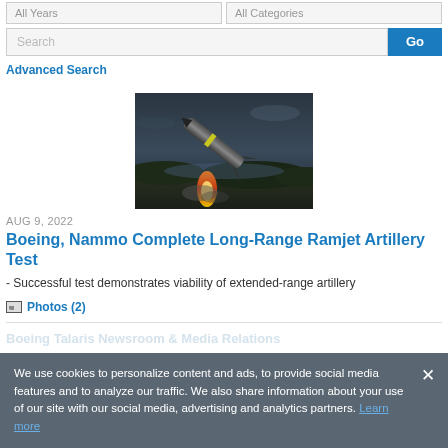All Years | All Categories
Search
Advanced Search
[Figure (photo): A missile or artillery round launching upward through dark cloudy sky with bright flame at base, dramatic action shot.]
AUG 9, 2022
Boeing, Nammo Complete Long-Range Ramjet Artillery Test
- Successful test demonstrates viability of extended-range artillery
Photos (2)
We use cookies to personalize content and ads, to provide social media features and to analyze our traffic. We also share information about your use of our site with our social media, advertising and analytics partners. Learn more